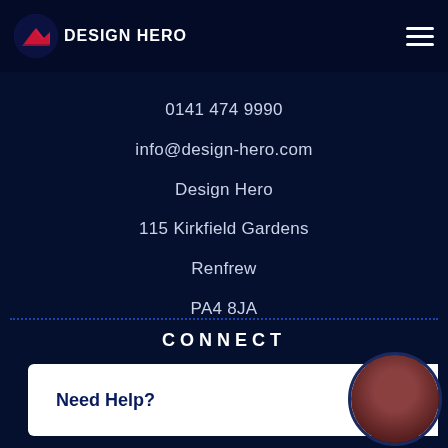DESIGN HERO
0141 474 9990
info@design-hero.com
Design Hero
115 Kirkfield Gardens
Renfrew
PA4 8JA
CONNECT
Youtube
Linkedin
Need Help?